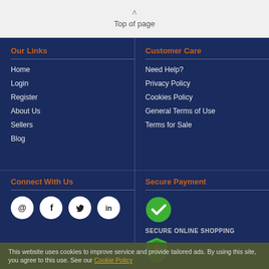Top of page
Our Links
Home
Login
Register
About Us
Sellers
Blog
Customer Care
Need Help?
Privacy Policy
Cookies Policy
General Terms of Use
Terms for Sale
Connect With Us
[Figure (illustration): Social media icons: email (@), Facebook, Twitter, LinkedIn]
Secure Payment
[Figure (illustration): Secure online shopping badge with green checkmark and SSL shield icon. Text: SECURE ONLINE SHOPPING]
Our site uses high-level SSL encryption technology. The most advanced security
This website uses cookies to improve service and provide tailored ads. By using this site, you agree to this use. See our Cookie Policy